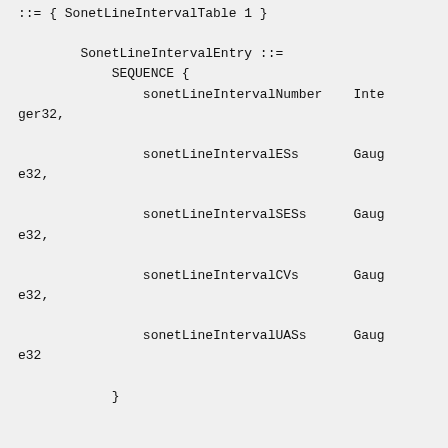::= { SonetLineIntervalTable 1 }

        SonetLineIntervalEntry ::=
            SEQUENCE {
                sonetLineIntervalNumber    Integer32,
                sonetLineIntervalESs      Gauge32,
                sonetLineIntervalSESs     Gauge32,
                sonetLineIntervalCVs      Gauge32,
                sonetLineIntervalUASs     Gauge32
            }

        sonetLineIntervalNumber OBJECT-TYPE
            SYNTAX  Integer32 (1..96)
            MAX-ACCESS  not-accessible
            STATUS  current
            DESCRIPTION
                "A number between 1 and 96, whi